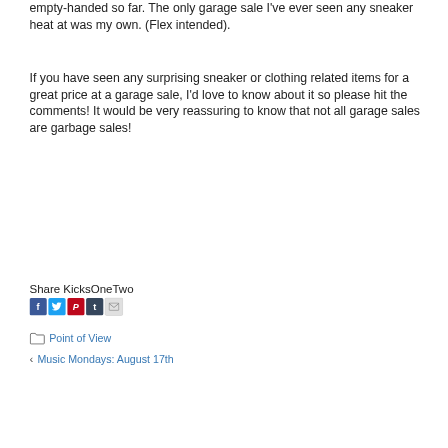empty-handed so far. The only garage sale I've ever seen any sneaker heat at was my own. (Flex intended).
If you have seen any surprising sneaker or clothing related items for a great price at a garage sale, I'd love to know about it so please hit the comments! It would be very reassuring to know that not all garage sales are garbage sales!
Share KicksOneTwo
[Figure (other): Social share icons: Facebook (blue), Twitter (light blue), Pinterest (red), Tumblr (dark blue/navy), Email (grey)]
Point of View
< Music Mondays: August 17th